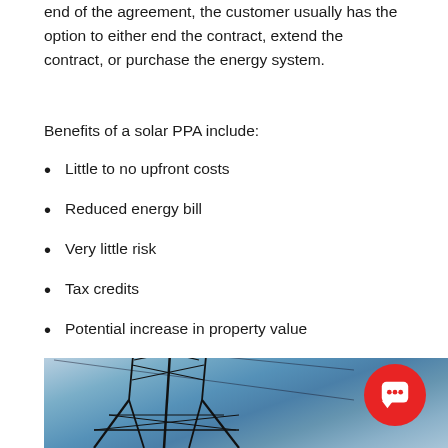end of the agreement, the customer usually has the option to either end the contract, extend the contract, or purchase the energy system.
Benefits of a solar PPA include:
Little to no upfront costs
Reduced energy bill
Very little risk
Tax credits
Potential increase in property value
[Figure (photo): Photo of a high-voltage electricity transmission pylon against a blue cloudy sky, with power lines visible. A red circular chat/help icon is overlaid in the bottom-right corner.]